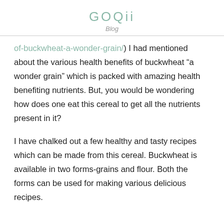GOQii
Blog
of-buckwheat-a-wonder-grain/) I had mentioned about the various health benefits of buckwheat “a wonder grain” which is packed with amazing health benefiting nutrients. But, you would be wondering how does one eat this cereal to get all the nutrients present in it?
I have chalked out a few healthy and tasty recipes which can be made from this cereal. Buckwheat is available in two forms-grains and flour. Both the forms can be used for making various delicious recipes.